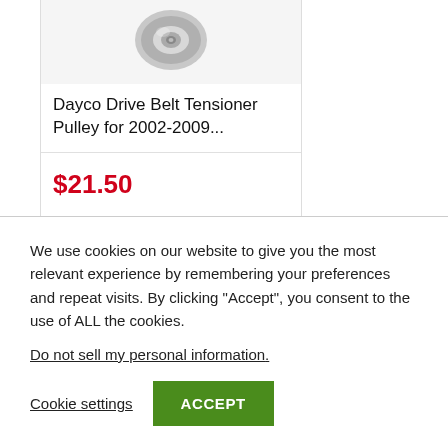[Figure (photo): A metal drive belt tensioner pulley, silver/chrome colored, viewed from above at a slight angle.]
Dayco Drive Belt Tensioner Pulley for 2002-2009...
$21.50
We use cookies on our website to give you the most relevant experience by remembering your preferences and repeat visits. By clicking “Accept”, you consent to the use of ALL the cookies.
Do not sell my personal information.
Cookie settings
ACCEPT